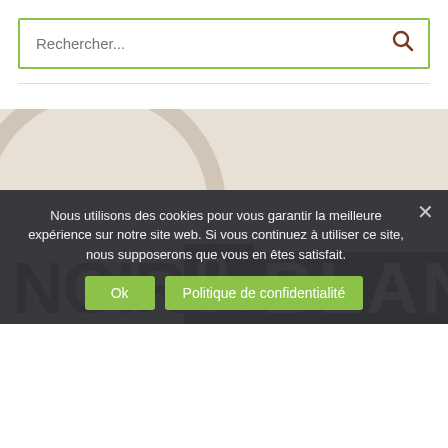[Figure (screenshot): Search bar with green border showing placeholder text 'Rechercher...' and a dark red/brown search icon on the right]
[Figure (illustration): Banner image with beige/cream background, circular decorative element, and large bold typography reading 'NOIR & BLANC' in black serif and sans-serif fonts]
Nous utilisons des cookies pour vous garantir la meilleure expérience sur notre site web. Si vous continuez à utiliser ce site, nous supposerons que vous en êtes satisfait.
Ok   Politique de confidentialité